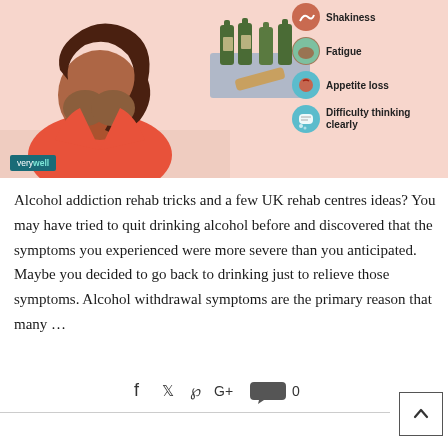[Figure (infographic): Infographic showing a woman with head in hands (distress) beside bottles of alcohol, with symptoms listed on the right: Shakiness, Fatigue, Appetite loss, Difficulty thinking clearly. Verywell logo badge at bottom left.]
Alcohol addiction rehab tricks and a few UK rehab centres ideas? You may have tried to quit drinking alcohol before and discovered that the symptoms you experienced were more severe than you anticipated. Maybe you decided to go back to drinking just to relieve those symptoms. Alcohol withdrawal symptoms are the primary reason that many …
[Figure (infographic): Social sharing icons: Facebook, Twitter, Pinterest, Google+, comment bubble with count 0]